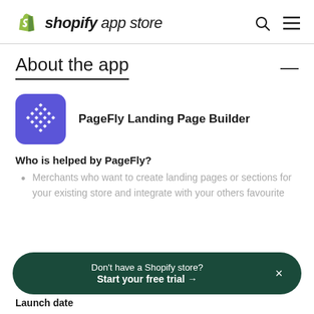shopify app store
About the app
[Figure (logo): PageFly Landing Page Builder app icon — blue/purple rounded square with white diamond grid pattern]
PageFly Landing Page Builder
Who is helped by PageFly?
Merchants who want to create landing pages or sections for your existing store and integrate with your others favourite
Don't have a Shopify store? Start your free trial →
Launch date